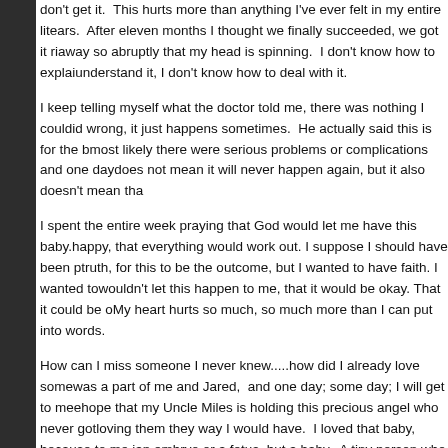don't get it.  This hurts more than anything I've ever felt in my entire li... tears.  After eleven months I thought we finally succeeded, we got it ri... away so abruptly that my head is spinning.  I don't know how to explai... understand it, I don't know how to deal with it.
I keep telling myself what the doctor told me, there was nothing I coul... did wrong, it just happens sometimes.  He actually said this is for the b... most likely there were serious problems or complications and one day... does not mean it will never happen again, but it also doesn't mean tha...
I spent the entire week praying that God would let me have this baby... happy, that everything would work out. I suppose I should have been p... truth, for this to be the outcome, but I wanted to have faith. I wanted to... wouldn't let this happen to me, that it would be okay. That it could be o... My heart hurts so much, so much more than I can put into words.
How can I miss someone I never knew.....how did I already love some... was a part of me and Jared,  and one day; some day; I will get to mee... hope that my Uncle Miles is holding this precious angel who never got... loving them they way I would have.  I loved that baby, because to me i... an embryo or a fetus, but a baby.  A tiny person who we wanted to be... chance.  I know that God has reasons for everything, reasons we may... understand.  I guess He just wasn't ready to let go of this angel, that H... Himself. But why my angel, why this one? Why take the one I have wa...